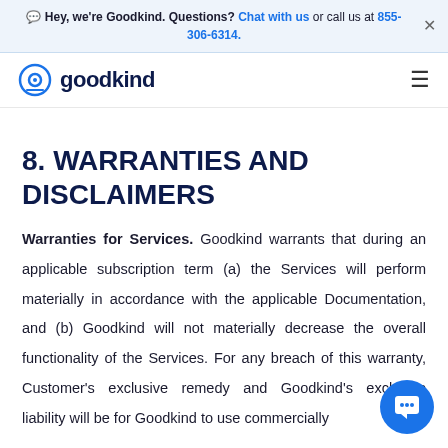Hey, we're Goodkind. Questions? Chat with us or call us at 855-306-6314.
goodkind (logo + navigation)
8. WARRANTIES AND DISCLAIMERS
Warranties for Services. Goodkind warrants that during an applicable subscription term (a) the Services will perform materially in accordance with the applicable Documentation, and (b) Goodkind will not materially decrease the overall functionality of the Services. For any breach of this warranty, Customer's exclusive remedy and Goodkind's exclusive liability will be for Goodkind to use commercially